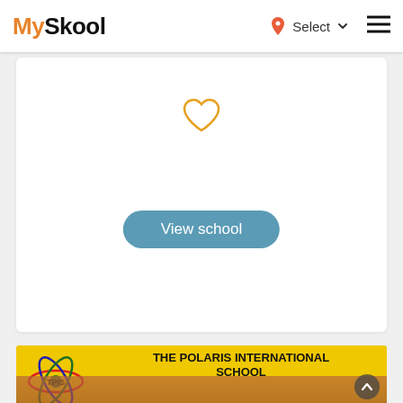MySkool — Select (navigation bar with location pin and hamburger menu)
[Figure (screenshot): Heart/favorite icon (outline heart in orange) centered in white card area]
View school
[Figure (photo): The Polaris International School building photo with yellow banner showing school logo (atomic symbol with TPIS text) and bold text 'THE POLARIS INTERNATIONAL SCHOOL'. Multi-storey red brick building visible below the banner. A scroll-up arrow button is visible at bottom right of the image.]